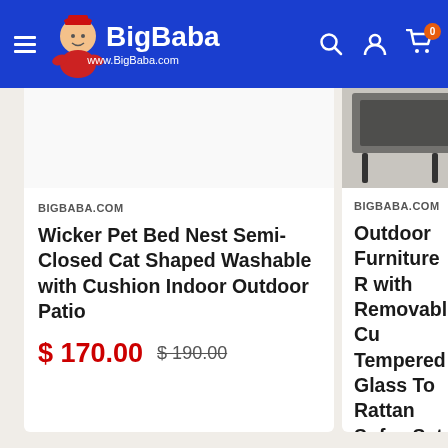BigBaba — www.BigBaba.com
BIGBABA.COM
Wicker Pet Bed Nest Semi-Closed Cat Shaped Washable with Cushion Indoor Outdoor Patio
$ 170.00  $ 190.00
BIGBABA.COM
Outdoor Furniture R... with Removable Cu... Tempered Glass To... Rattan Sofas Set fo... Backyard
$ 260.00  $ 450...